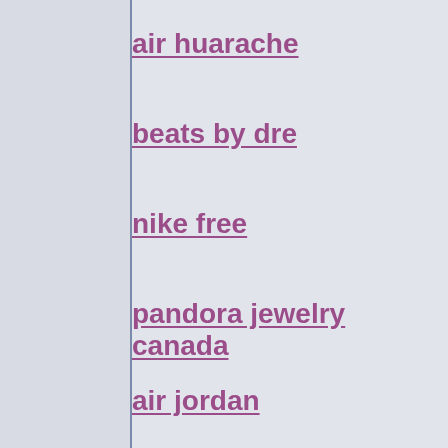air huarache
beats by dre
nike free
pandora jewelry canada
air jordan